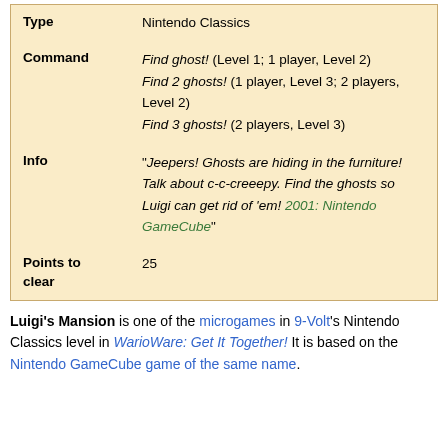| Field | Value |
| --- | --- |
| Type | Nintendo Classics |
| Command | Find ghost! (Level 1; 1 player, Level 2)
Find 2 ghosts! (1 player, Level 3; 2 players, Level 2)
Find 3 ghosts! (2 players, Level 3) |
| Info | "Jeepers! Ghosts are hiding in the furniture! Talk about c-c-creeepy. Find the ghosts so Luigi can get rid of 'em! 2001: Nintendo GameCube" |
| Points to clear | 25 |
Luigi's Mansion is one of the microgames in 9-Volt's Nintendo Classics level in WarioWare: Get It Together! It is based on the Nintendo GameCube game of the same name.